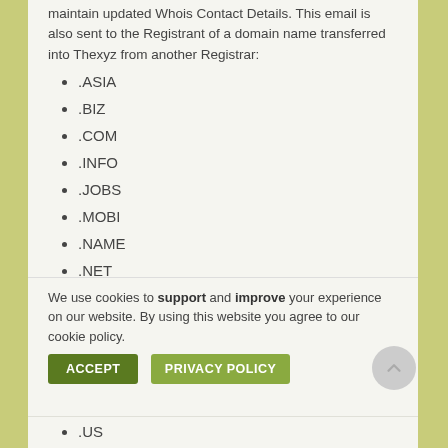maintain updated Whois Contact Details. This email is also sent to the Registrant of a domain name transferred into Thexyz from another Registrar:
.ASIA
.BIZ
.COM
.INFO
.JOBS
.MOBI
.NAME
.NET
.ORG
We use cookies to support and improve your experience on our website. By using this website you agree to our cookie policy.
.US